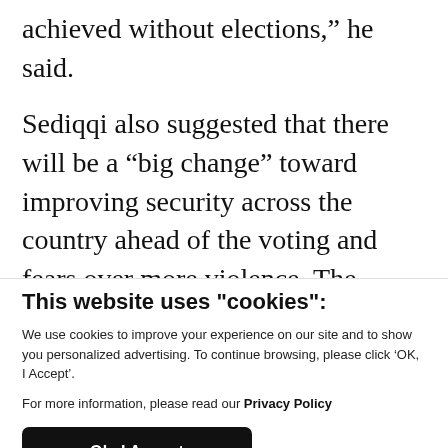achieved without elections,” he said.
Sediqqi also suggested that there will be a “big change” toward improving security across the country ahead of the voting and fears over more violence. The Taliban, who consider the Afghan government a US puppet, have warned Afghans not to vote
This website uses "cookies":
We use cookies to improve your experience on our site and to show you personalized advertising. To continue browsing, please click ‘OK, I Accept’.
For more information, please read our Privacy Policy
Ok, I Accept